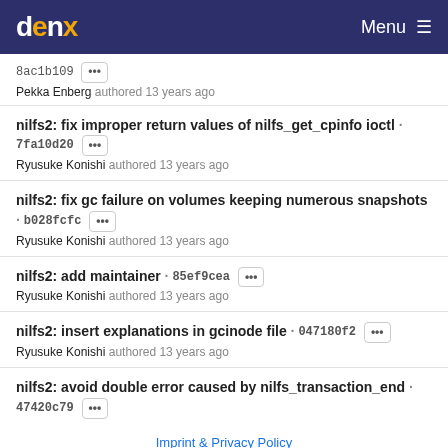denx Menu
8ac1b109 ··· Pekka Enberg authored 13 years ago
nilfs2: fix improper return values of nilfs_get_cpinfo ioctl · 7fa10d20 ··· Ryusuke Konishi authored 13 years ago
nilfs2: fix gc failure on volumes keeping numerous snapshots · b028fcfc ··· Ryusuke Konishi authored 13 years ago
nilfs2: add maintainer · 85ef9cea ··· Ryusuke Konishi authored 13 years ago
nilfs2: insert explanations in gcinode file · 047180f2 ··· Ryusuke Konishi authored 13 years ago
nilfs2: avoid double error caused by nilfs_transaction_end · 47420c79 ···
Imprint & Privacy Policy